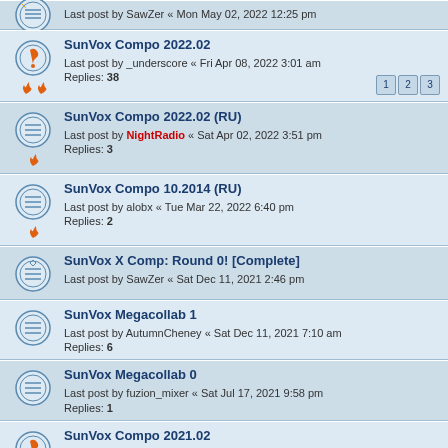Last post by SawZer « Mon May 02, 2022 12:25 pm
SunVox Compo 2022.02 — Last post by _underscore « Fri Apr 08, 2022 3:01 am — Replies: 38 — pages 1 2 3
SunVox Compo 2022.02 (RU) — Last post by NightRadio « Sat Apr 02, 2022 3:51 pm — Replies: 3
SunVox Compo 10.2014 (RU) — Last post by alobx « Tue Mar 22, 2022 6:40 pm — Replies: 2
SunVox X Comp: Round 0! [Complete] — Last post by SawZer « Sat Dec 11, 2021 2:46 pm
SunVox Megacollab 1 — Last post by AutumnCheney « Sat Dec 11, 2021 7:10 am — Replies: 6
SunVox Megacollab 0 — Last post by fuzion_mixer « Sat Jul 17, 2021 9:58 pm — Replies: 1
SunVox Compo 2021.02 — Last post by Artinum « Mon Mar 29, 2021 11:24 pm — Replies: 79 — pages 1 2 3 4 5 6
SunVox Compo 2021.02 (RU) — Last post by NightRadio « Fri Mar 26, 2021 8:27 pm — Replies: 3
SunVox Compo 2020.02 — Last post by Gbaum « Wed Jan 06, 2021 11:10 am